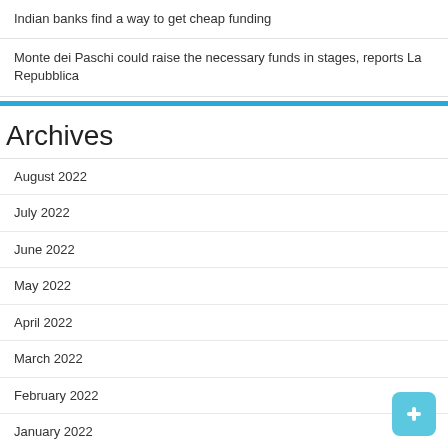Indian banks find a way to get cheap funding
Monte dei Paschi could raise the necessary funds in stages, reports La Repubblica
Archives
August 2022
July 2022
June 2022
May 2022
April 2022
March 2022
February 2022
January 2022
December 2021